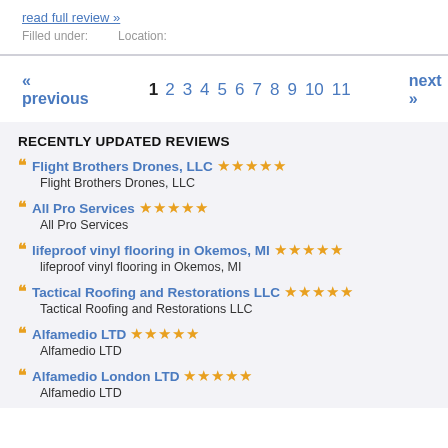read full review »
Filled under:    Location:
« previous  1 2 3 4 5 6 7 8 9 10 11  next »
RECENTLY UPDATED REVIEWS
Flight Brothers Drones, LLC ★★★★★
Flight Brothers Drones, LLC
All Pro Services ★★★★★
All Pro Services
lifeproof vinyl flooring in Okemos, MI ★★★★★
lifeproof vinyl flooring in Okemos, MI
Tactical Roofing and Restorations LLC ★★★★★
Tactical Roofing and Restorations LLC
Alfamedio LTD ★★★★★
Alfamedio LTD
Alfamedio London LTD ★★★★★
Alfamedio LTD
Texas Insurance Now ★★★★★
Texas Insurance Now